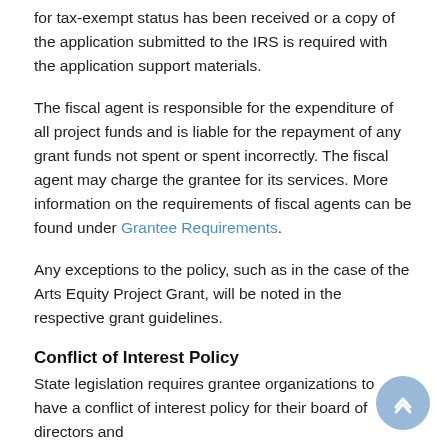for tax-exempt status has been received or a copy of the application submitted to the IRS is required with the application support materials.
The fiscal agent is responsible for the expenditure of all project funds and is liable for the repayment of any grant funds not spent or spent incorrectly. The fiscal agent may charge the grantee for its services. More information on the requirements of fiscal agents can be found under Grantee Requirements.
Any exceptions to the policy, such as in the case of the Arts Equity Project Grant, will be noted in the respective grant guidelines.
Conflict of Interest Policy
State legislation requires grantee organizations to have a conflict of interest policy for their board of directors and